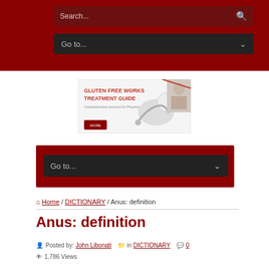Search... [search icon]
Go to... [dropdown]
[Figure (other): Advertisement banner for Gluten Free Works Treatment Guide, showing a stethoscope and a person's photo with red text on white background]
Go to... [navigation dropdown]
Home / DICTIONARY / Anus: definition
Anus: definition
Posted by: John Libonati  in DICTIONARY  0  1,786 Views